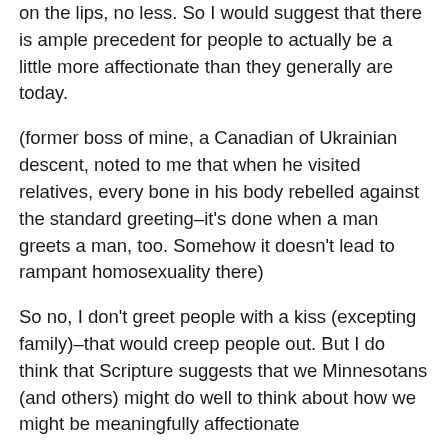on the lips, no less. So I would suggest that there is ample precedent for people to actually be a little more affectionate than they generally are today.
(former boss of mine, a Canadian of Ukrainian descent, noted to me that when he visited relatives, every bone in his body rebelled against the standard greeting–it's done when a man greets a man, too. Somehow it doesn't lead to rampant homosexuality there)
So no, I don't greet people with a kiss (excepting family)–that would creep people out. But I do think that Scripture suggests that we Minnesotans (and others) might do well to think about how we might be meaningfully affectionate